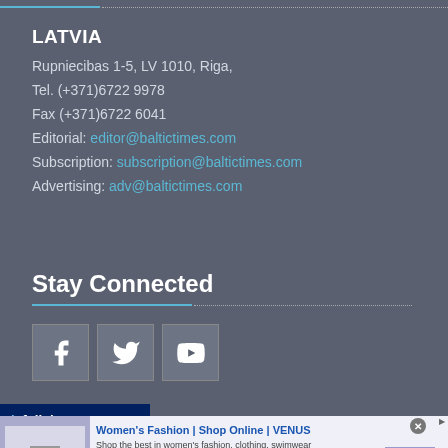LATVIA
Rupniecibas 1-5, LV 1010, Riga,
Tel. (+371)6722 9978
Fax (+371)6722 6041
Editorial: editor@baltictimes.com
Subscription: subscription@baltictimes.com
Advertising: adv@baltictimes.com
Stay Connected
[Figure (other): Social media icons: Facebook, Twitter, YouTube]
[Figure (other): Infolinks advertisement bar with Women's Fashion | Shop Online | VENUS ad from venus.com]